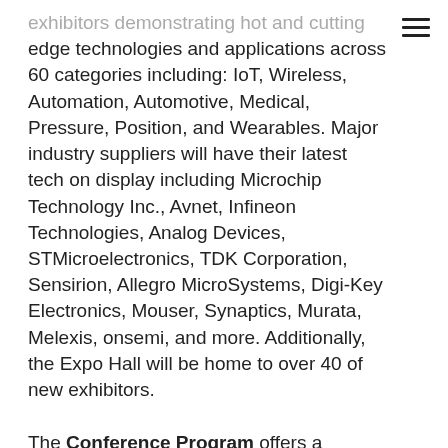exhibitors demonstrating hot and cutting edge technologies and applications across 60 categories including: IoT, Wireless, Automation, Automotive, Medical, Pressure, Position, and Wearables. Major industry suppliers will have their latest tech on display including Microchip Technology Inc., Avnet, Infineon Technologies, Analog Devices, STMicroelectronics, TDK Corporation, Sensirion, Allegro MicroSystems, Digi-Key Electronics, Mouser, Synaptics, Murata, Melexis, onsemi, and more. Additionally, the Expo Hall will be home to over 40 of new exhibitors.

The Conference Program offers a dynamic